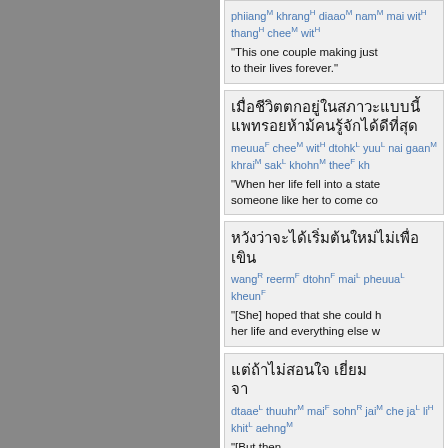phiiangM khrangH diaaoM namM mai witH thangH cheeM witH
"This one couple making just to their lives forever."
[Thai text block 1]
meuuaF cheeM witH dtohkL yuuL nai gaan M khrai M sakL khohnM theeF kh
"When her life fell into a state someone like her to come co"
[Thai text block 2]
wangR reermF dtohnF maiL pheuuaL kheunF
"[She] hoped that she could h her life and everything else w"
[Thai text block 3]
dtaaeL thuuhrM maiF sohnR jaiM che jaL liH khitL aehngM
"[But then...]"